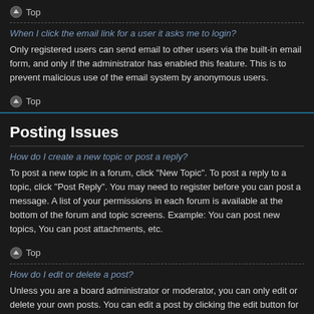Top
When I click the email link for a user it asks me to login?
Only registered users can send email to other users via the built-in email form, and only if the administrator has enabled this feature. This is to prevent malicious use of the email system by anonymous users.
Top
Posting Issues
How do I create a new topic or post a reply?
To post a new topic in a forum, click "New Topic". To post a reply to a topic, click "Post Reply". You may need to register before you can post a message. A list of your permissions in each forum is available at the bottom of the forum and topic screens. Example: You can post new topics, You can post attachments, etc.
Top
How do I edit or delete a post?
Unless you are a board administrator or moderator, you can only edit or delete your own posts. You can edit a post by clicking the edit button for the relevant post, sometimes for only a limited time after the post was made. If someone has already replied to the post, you will find a small piece of text output below